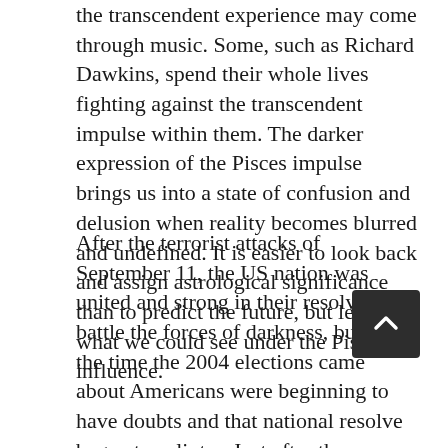the transcendent experience may come through music. Some, such as Richard Dawkins, spend their whole lives fighting against the transcendent impulse within them. The darker expression of the Pisces impulse brings us into a state of confusion and delusion when reality becomes blurred and undefined. It is easier to look back and assign astrological significance than to predict the future, but let's see what we could see under the Pisces influence.
After the terrorist attacks of September 11, the US nation was united and strong in their resolve to battle the forces of darkness, but by the time the 2004 elections came about Americans were beginning to have doubts and that national resolve began to splinter. Just after the election Colin Powell resigned, the first chink in the Bush administration to fall. Pisces tends to obscure the truth, and suddenly the world appeared faded